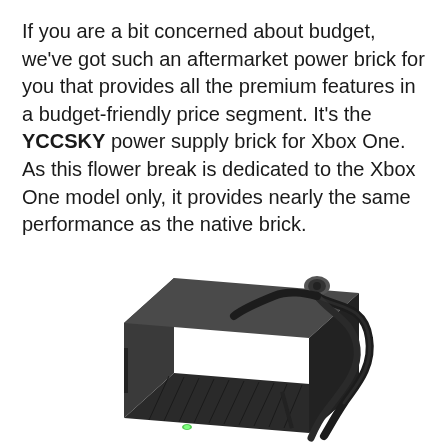If you are a bit concerned about budget, we've got such an aftermarket power brick for you that provides all the premium features in a budget-friendly price segment. It's the YCCSKY power supply brick for Xbox One. As this flower break is dedicated to the Xbox One model only, it provides nearly the same performance as the native brick.
[Figure (photo): Photo of a black YCCSKY Xbox One power supply brick with cables coiled around it, showing a green LED indicator light on the front.]